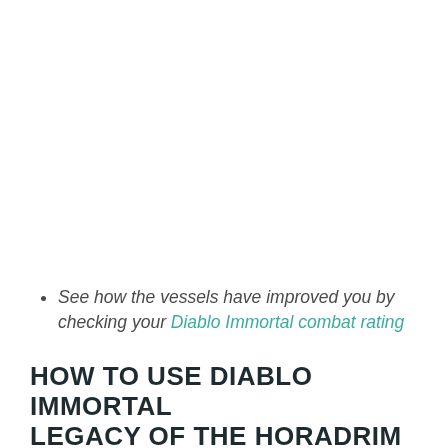See how the vessels have improved you by checking your Diablo Immortal combat rating
HOW TO USE DIABLO IMMORTAL LEGACY OF THE HORADRIM VESSELS